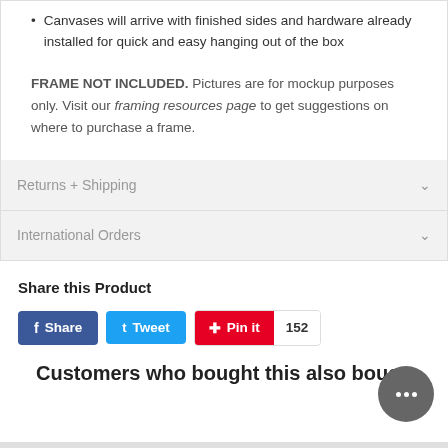Canvases will arrive with finished sides and hardware already installed for quick and easy hanging out of the box
FRAME NOT INCLUDED. Pictures are for mockup purposes only. Visit our framing resources page to get suggestions on where to purchase a frame.
Returns + Shipping
International Orders
Share this Product
Share   Tweet   Pin it  152
Customers who bought this also bought